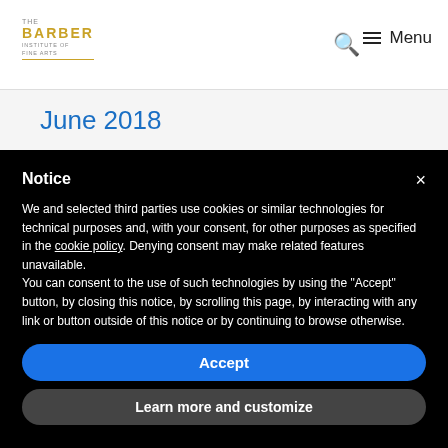The Barber Institute of Fine Arts — Search | Menu
June 2018
Notice
We and selected third parties use cookies or similar technologies for technical purposes and, with your consent, for other purposes as specified in the cookie policy. Denying consent may make related features unavailable.
You can consent to the use of such technologies by using the "Accept" button, by closing this notice, by scrolling this page, by interacting with any link or button outside of this notice or by continuing to browse otherwise.
Accept
Learn more and customize